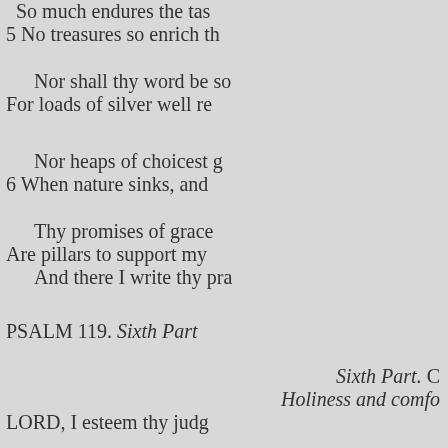So much endures the taste
5 No treasures so enrich th
Nor shall thy word be so
For loads of silver well re
Nor heaps of choicest g
6 When nature sinks, and
Thy promises of grace
Are pillars to support my
And there I write thy pra
PSALM 119. Sixth Part
Sixth Part. C
Holiness and comfo
LORD, I esteem thy judg
And all thy statutes just
Thence I maintain a cons
With ev'ry flatt'ring lust
2 Thy precepts often I survey
I keep thy laws in sight,
Thro' all the bus'ness of a